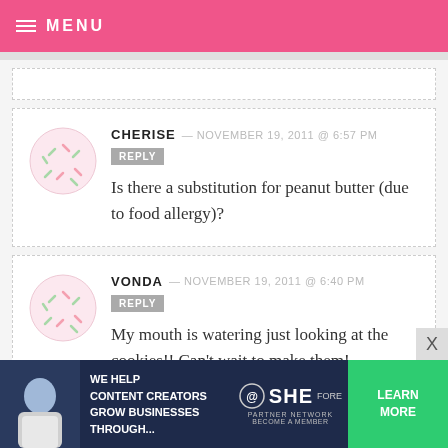MENU
CHERISE — NOVEMBER 19, 2011 @ 6:57 PM   REPLY
Is there a substitution for peanut butter (due to food allergy)?
VONDA — NOVEMBER 19, 2011 @ 6:40 PM   REPLY
My mouth is watering just looking at the cookies!! Can't wait to make them!
btw... don't know if you know but if
[Figure (infographic): Advertisement banner: WE HELP CONTENT CREATORS GROW BUSINESSES THROUGH... SHE PARTNER NETWORK BECOME A MEMBER. LEARN MORE button.]